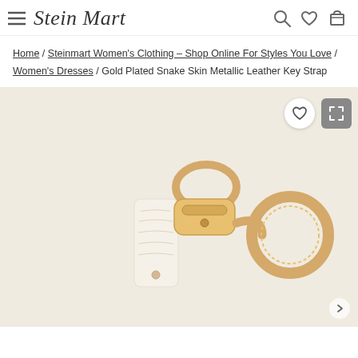Stein Mart
Home / Steinmart Women's Clothing – Shop Online For Styles You Love / Women's Dresses / Gold Plated Snake Skin Metallic Leather Key Strap
[Figure (photo): Product photo of a Gold Plated Snake Skin Metallic Leather Key Strap with golden clasp and key ring on a cream/beige background]